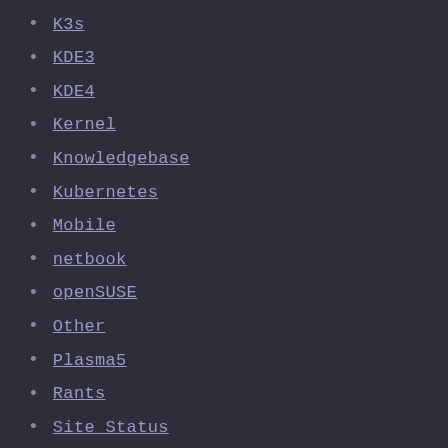K3s
KDE3
KDE4
Kernel
Knowledgebase
Kubernetes
Mobile
netbook
openSUSE
Other
Plasma5
Rants
Site Status
Systems Management
Tips & Tricks
Ubuntu